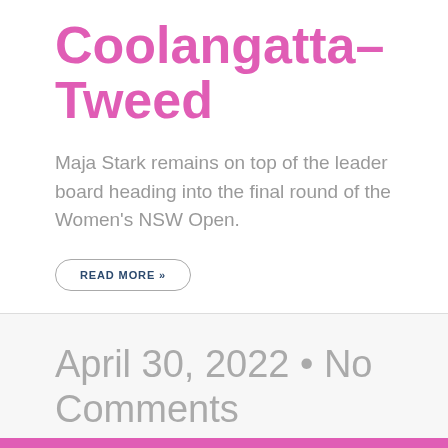Coolangatta-Tweed
Maja Stark remains on top of the leader board heading into the final round of the Women's NSW Open.
READ MORE »
April 30, 2022 • No Comments